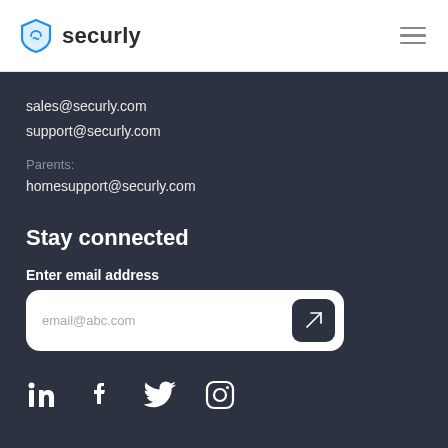[Figure (logo): Securly logo with shield icon and text 'securly']
sales@securly.com
support@securly.com
Parents:
homesupport@securly.com
Stay connected
Enter email address
[Figure (other): Email input field with placeholder 'email@abc.com' and a send button with arrow icon]
[Figure (other): Social media icons: LinkedIn, Facebook, Twitter, Instagram]